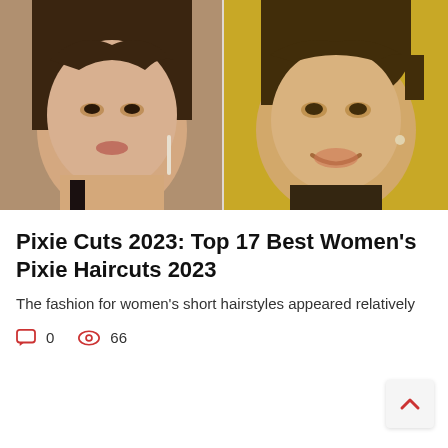[Figure (photo): Two women with pixie haircuts side by side — left woman with layered brunette pixie cut wearing dangling earrings, right woman with short dark pixie cut smiling against a golden background]
Pixie Cuts 2023: Top 17 Best Women's Pixie Haircuts 2023
The fashion for women's short hairstyles appeared relatively
0   66